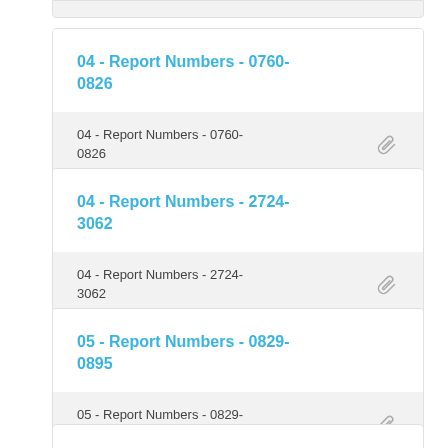04 - Report Numbers - 0760-0826
04 - Report Numbers - 2724-3062
05 - Report Numbers - 0829-0895